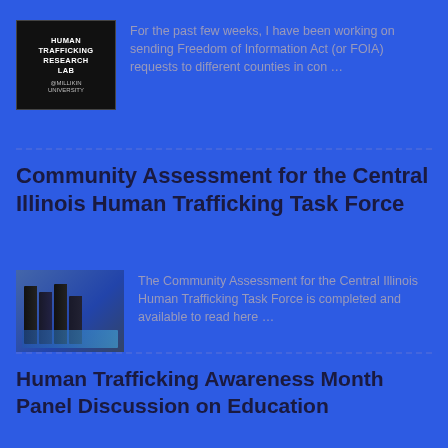[Figure (photo): Sign reading 'Human Trafficking Research Lab @Millikin University' on a dark letterboard]
For the past few weeks, I have been working on sending Freedom of Information Act (or FOIA) requests to different counties in …
Community Assessment for the Central Illinois Human Trafficking Task Force
[Figure (photo): Stack of printed Community Assessment reports/booklets with blue covers]
The Community Assessment for the Central Illinois Human Trafficking Task Force is completed and available to read here …
Human Trafficking Awareness Month Panel Discussion on Education…